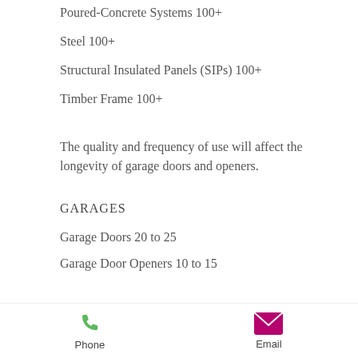Poured-Concrete Systems 100+
Steel 100+
Structural Insulated Panels (SIPs) 100+
Timber Frame 100+
The quality and frequency of use will affect the longevity of garage doors and openers.
GARAGES
Garage Doors 20 to 25
Garage Door Openers 10 to 15
Home technology systems have diverse life
Phone   Email